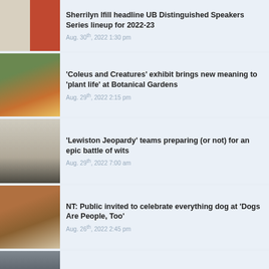Sherrilyn Ifill headline UB Distinguished Speakers Series lineup for 2022-23 | Aug. 30th, 2022 1:30 pm
'Coleus and Creatures' exhibit brings new meaning to 'plant life' at Botanical Gardens | Aug. 29th, 2022 2:15 pm
'Lewiston Jeopardy' teams preparing (or not) for an epic battle of wits | Aug. 29th, 2022 7:00 am
NT: Public invited to celebrate everything dog at 'Dogs Are People, Too' | Aug. 26th, 2022 2:45 pm
[Figure (photo): Partial thumbnail of a fifth news article at the bottom of the list]